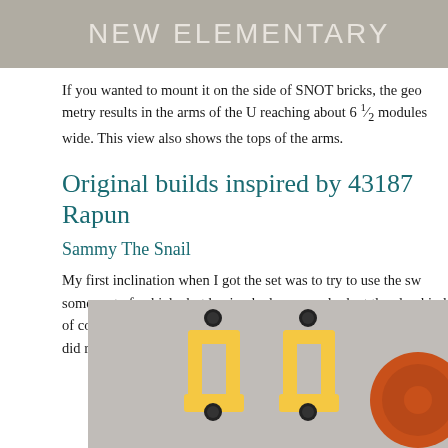NEW ELEMENTARY
If you wanted to mount it on the side of SNOT bricks, the geometry results in the arms of the U reaching about 6 ½ modules wide. This view also shows the tops of the arms.
Original builds inspired by 43187 Rapun...
Sammy The Snail
My first inclination when I got the set was to try to use the sw... some sort of vehicle, but having had a proper look at the elem... kind of connection point at the tops of the arms were going t... like shape did remind me of the huge eye stalks of a snail.
[Figure (photo): Yellow LEGO arm/bracket pieces and an orange circular piece arranged on a gray background, resembling a snail shape.]